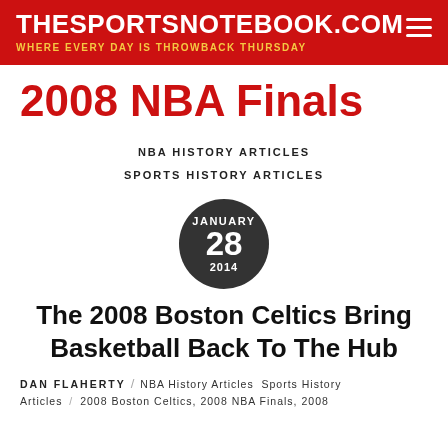THESPORTSNOTEBOOK.COM — WHERE EVERY DAY IS THROWBACK THURSDAY
2008 NBA Finals
NBA HISTORY ARTICLES
SPORTS HISTORY ARTICLES
JANUARY 28 2014
The 2008 Boston Celtics Bring Basketball Back To The Hub
DAN FLAHERTY / NBA History Articles Sports History Articles / 2008 Boston Celtics, 2008 NBA Finals, 2008